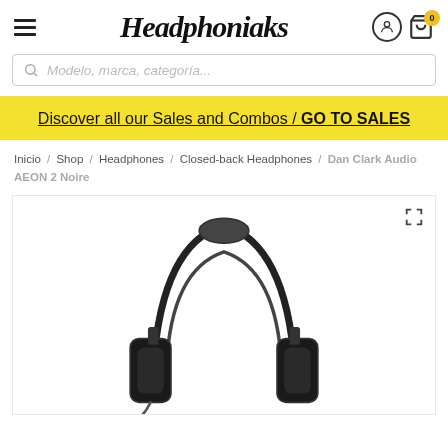Headphoniaks — navigation header with hamburger menu, logo, user icon, and cart (0)
Modelo, marca, categoría...
Discover all our Sales and Combos / GO TO SALES
Inicio / Shop / Headphones / Closed-back Headphones / Dan Clark Audio AEON 2 Noire
[Figure (photo): Black over-ear headphones (Dan Clark Audio AEON 2 Noire) shown against white background, top-down view showing headband and ear cups]